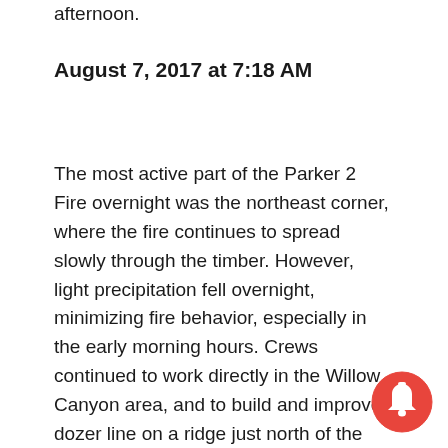afternoon.
August 7, 2017 at 7:18 AM
The most active part of the Parker 2 Fire overnight was the northeast corner, where the fire continues to spread slowly through the timber. However, light precipitation fell overnight, minimizing fire behavior, especially in the early morning hours. Crews continued to work directly in the Willow Canyon area, and to build and improve dozer line on a ridge just north of the Deep Creek-Parker Road, tying that line into existing roads where possible. On the east side of the fire, crews continued improving line below the power poles west of Cedarville, and south to Granger Canyon.